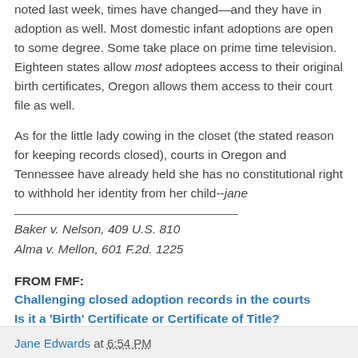noted last week, times have changed—and they have in adoption as well. Most domestic infant adoptions are open to some degree. Some take place on prime time television. Eighteen states allow most adoptees access to their original birth certificates, Oregon allows them access to their court file as well.
As for the little lady cowing in the closet (the stated reason for keeping records closed), courts in Oregon and Tennessee have already held she has no constitutional right to withhold her identity from her child--jane
Baker v. Nelson, 409 U.S. 810
Alma v. Mellon, 601 F.2d. 1225
FROM FMF:
Challenging closed adoption records in the courts
Is it a 'Birth' Certificate or Certificate of Title?
Unjust Sealed Birth Certificate Laws
Jane Edwards at 6:54 PM